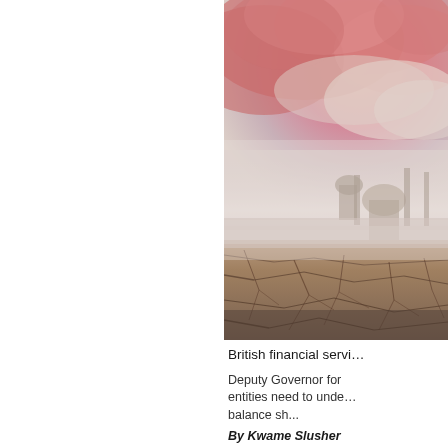[Figure (photo): An atmospheric image showing cracked dry earth in the foreground with industrial buildings or smokestacks silhouetted in fog/haze in the middle distance, and dramatic pink-red clouds in the upper portion of the sky. The overall color palette is muted pinks, taupes, and grays suggesting pollution or climate change.]
British financial servi...
Deputy Governor for... entities need to unde... balance sh...
By Kwame Slusher